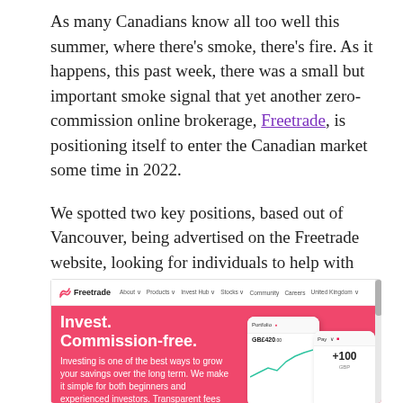As many Canadians know all too well this summer, where there's smoke, there's fire. As it happens, this past week, there was a small but important smoke signal that yet another zero-commission online brokerage, Freetrade, is positioning itself to enter the Canadian market some time in 2022.
We spotted two key positions, based out of Vancouver, being advertised on the Freetrade website, looking for individuals to help with building out their Canadian business.
[Figure (screenshot): Screenshot of the Freetrade website homepage showing a pink/red hero section with the headline 'Invest. Commission-free.' and navigation bar with links including About, Products, Invest Hub, Stocks, Community, Careers, United Kingdom. Two phone mockups are visible on the right side of the hero area. Below the headline is text: 'Investing is one of the best ways to grow your savings over the long term. We make it simple for both beginners and experienced investors. Transparent fees and charges. Sign up in seconds.']